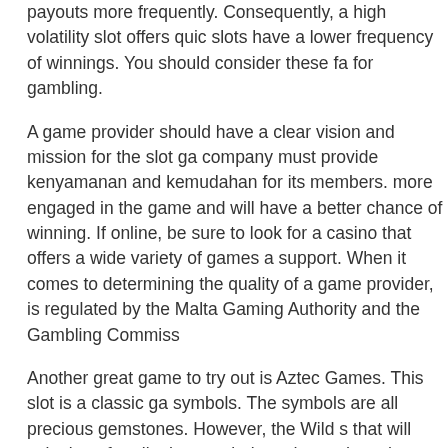payouts more frequently. Consequently, a high volatility slot offers quick slots have a lower frequency of winnings. You should consider these fa for gambling.
A game provider should have a clear vision and mission for the slot ga company must provide kenyamanan and kemudahan for its members. more engaged in the game and will have a better chance of winning. If online, be sure to look for a casino that offers a wide variety of games a support. When it comes to determining the quality of a game provider, is regulated by the Malta Gaming Authority and the Gambling Commiss
Another great game to try out is Aztec Games. This slot is a classic ga symbols. The symbols are all precious gemstones. However, the Wild s that will substitute for all other symbols and award you huge payouts. If symbols, you could win up to 500x your stake. You may also win a jack eight similar candies. When this happens, you'll be rewarded with free s
How to Play the Lottery Online
Posted on June 29, 2022 by adminangi